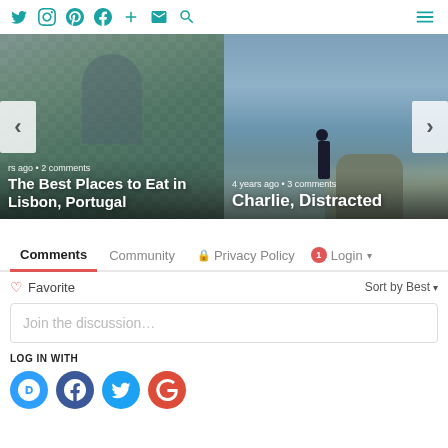Navigation bar with social icons: Twitter, Instagram, Pinterest, Facebook, Plus, Email, Search and hamburger menu
[Figure (photo): Two-panel image slider. Left panel shows a woman eating food with decorative background, overlaid with text 'rs ago • 2 comments' and title 'The Best Places to Eat in Lisbon, Portugal'. Left arrow nav button visible. Right panel shows a person standing on coastal rocks/cliff with sea and overcast sky, overlaid with text '4 years ago • 3 comments' and title 'Charlie, Distracted'. Right arrow nav button visible.]
Comments  Community  🔒 Privacy Policy  1 Login ▾
♡ Favorite   Sort by Best ▾
Join the discussion…
LOG IN WITH
[Figure (logo): Four social login buttons: Disqus (blue circle with D), Facebook (dark blue circle with f), Twitter (light blue circle with bird), Google (red circle with G)]